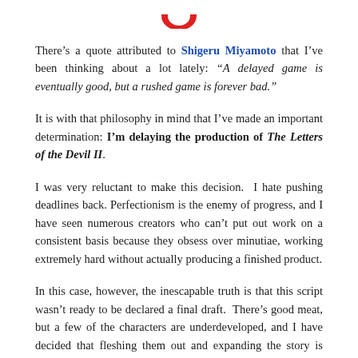[Figure (logo): Partial red circular logo at top center]
There's a quote attributed to Shigeru Miyamoto that I've been thinking about a lot lately: "A delayed game is eventually good, but a rushed game is forever bad."
It is with that philosophy in mind that I've made an important determination: I'm delaying the production of The Letters of the Devil II.
I was very reluctant to make this decision.  I hate pushing deadlines back. Perfectionism is the enemy of progress, and I have seen numerous creators who can't put out work on a consistent basis because they obsess over minutiae, working extremely hard without actually producing a finished product.
In this case, however, the inescapable truth is that this script wasn't ready to be declared a final draft.  There's good meat, but a few of the characters are underdeveloped, and I have decided that fleshing them out and expanding the story is worth a short delay.